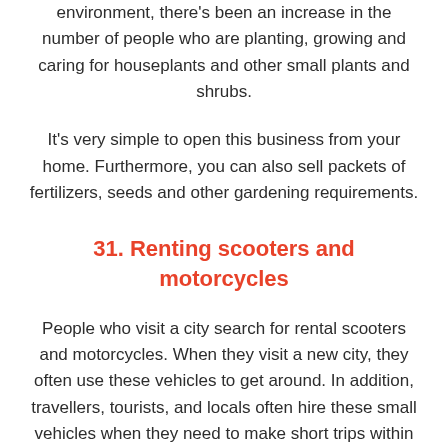environment, there's been an increase in the number of people who are planting, growing and caring for houseplants and other small plants and shrubs.
It's very simple to open this business from your home. Furthermore, you can also sell packets of fertilizers, seeds and other gardening requirements.
31. Renting scooters and motorcycles
People who visit a city search for rental scooters and motorcycles. When they visit a new city, they often use these vehicles to get around. In addition, travellers, tourists, and locals often hire these small vehicles when they need to make short trips within the city.
Two-wheeling by bicycle is the most